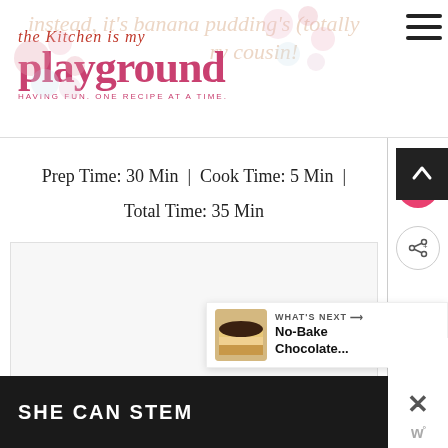the kitchen is my playground — HAVING FUN. ONE RECIPE AT A TIME.
instead, it's banana pudding's (totally ry cousin!
Prep Time: 30 Min  |  Cook Time: 5 Min  |  Total Time: 35 Min
[Figure (photo): Empty/blank recipe image placeholder area]
WHAT'S NEXT → No-Bake Chocolate...
SHE CAN STEM